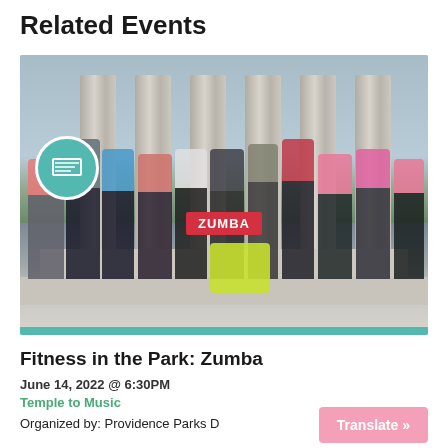Related Events
[Figure (photo): Group of people posing energetically on steps in front of large stone columns in a park, some holding a Zumba banner. People are wearing colorful workout clothes.]
Fitness in the Park: Zumba
June 14, 2022 @ 6:30PM
Temple to Music
Organized by: Providence Parks D